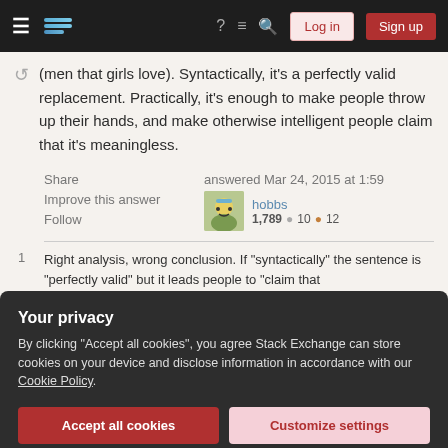Stack Exchange navigation bar with Log in and Sign up buttons
(men that girls love). Syntactically, it's a perfectly valid replacement. Practically, it's enough to make people throw up their hands, and make otherwise intelligent people claim that it's meaningless.
Share  Improve this answer  Follow  |  answered Mar 24, 2015 at 1:59  hobbs  1,789  10  12
1  Right analysis, wrong conclusion. If "syntactically" the sentence is "perfectly valid" but it leads people to "claim that
Your privacy
By clicking "Accept all cookies", you agree Stack Exchange can store cookies on your device and disclose information in accordance with our Cookie Policy.
Accept all cookies  Customize settings
German — doesn't mean there's anything wrong with my